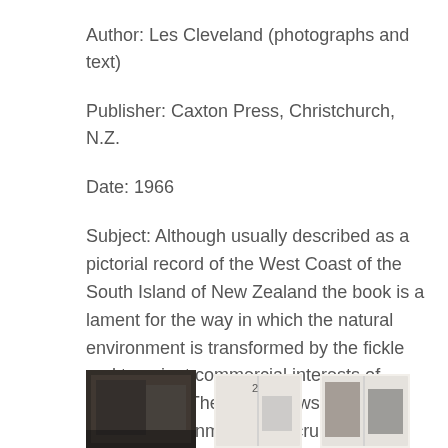Author: Les Cleveland (photographs and text)
Publisher: Caxton Press, Christchurch, N.Z.
Date: 1966
Subject: Although usually described as a pictorial record of the West Coast of the South Island of New Zealand the book is a lament for the way in which the natural environment is transformed by the fickle and transient commercial interests of human kind. The book shows degraded natural environments and crumbling buildings in streets inhabited by workers and their families.
[Figure (photo): Three partially visible thumbnail images of book pages or photographs at the bottom of the page]